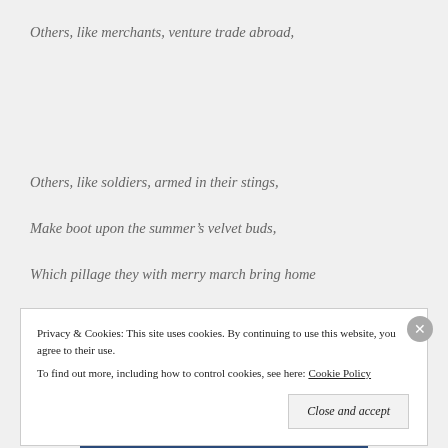Others, like merchants, venture trade abroad,
Others, like soldiers, armed in their stings,
Make boot upon the summer's velvet buds,
Which pillage they with merry march bring home
Privacy & Cookies: This site uses cookies. By continuing to use this website, you agree to their use.
To find out more, including how to control cookies, see here: Cookie Policy
Close and accept